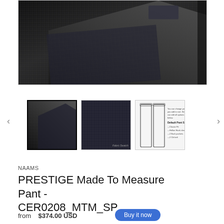[Figure (photo): Main product image showing dark charcoal/black plaid fabric folded, showing a suit pant with pocket detail]
[Figure (photo): Thumbnail 1: Dark folded fabric product image (active/selected, with black border)]
[Figure (photo): Thumbnail 2: Close-up of dark charcoal plaid fabric swatch labeled 'Fabric Swatch']
[Figure (illustration): Thumbnail 3: Technical line drawing of pants with default pant style options listed]
NAAMS
PRESTIGE Made To Measure Pant - CER0208_MTM_SP
$374.00 USD